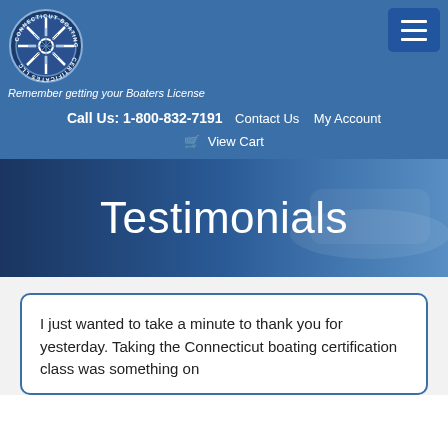[Figure (logo): Connecticut Boating Certificates LLC circular logo with ship wheel and compass design]
Remember getting your Boaters License
Call Us: 1-800-832-7191  Contact Us  My Account
View Cart
Testimonials
I just wanted to take a minute to thank you for yesterday. Taking the Connecticut boating certification class was something on